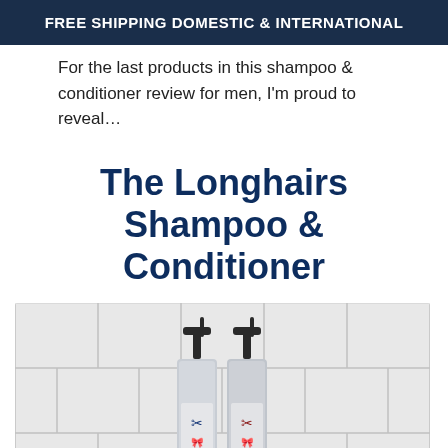FREE SHIPPING DOMESTIC & INTERNATIONAL
For the last products in this shampoo & conditioner review for men, I'm proud to reveal…
The Longhairs Shampoo & Conditioner
[Figure (photo): Two pump-top shampoo and conditioner bottles against a white tiled wall background. Each bottle is silver/metallic with a dark pump top and decorated with a ribbon/scissors logo — one with a blue ribbon, one with a red/pink ribbon.]